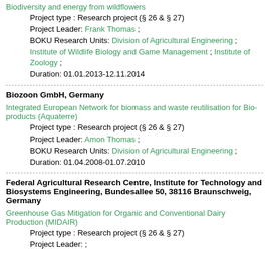Biodiversity and energy from wildflowers
Project type : Research project (§ 26 & § 27)
Project Leader: Frank Thomas ;
BOKU Research Units: Division of Agricultural Engineering ; Institute of Wildlife Biology and Game Management ; Institute of Zoology ;
Duration: 01.01.2013-12.11.2014
Biozoon GmbH, Germany
Integrated European Network for biomass and waste reutilisation for Bio-products (Aquaterre)
Project type : Research project (§ 26 & § 27)
Project Leader: Amon Thomas ;
BOKU Research Units: Division of Agricultural Engineering ;
Duration: 01.04.2008-01.07.2010
Federal Agricultural Research Centre, Institute for Technology and Biosystems Engineering, Bundesallee 50, 38116 Braunschweig, Germany
Greenhouse Gas Mitigation for Organic and Conventional Dairy Production (MIDAIR)
Project type : Research project (§ 26 & § 27)
Project Leader: ;